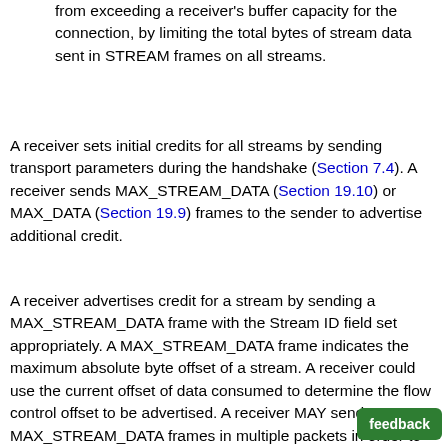from exceeding a receiver's buffer capacity for the connection, by limiting the total bytes of stream data sent in STREAM frames on all streams.
A receiver sets initial credits for all streams by sending transport parameters during the handshake (Section 7.4). A receiver sends MAX_STREAM_DATA (Section 19.10) or MAX_DATA (Section 19.9) frames to the sender to advertise additional credit.
A receiver advertises credit for a stream by sending a MAX_STREAM_DATA frame with the Stream ID field set appropriately. A MAX_STREAM_DATA frame indicates the maximum absolute byte offset of a stream. A receiver could use the current offset of data consumed to determine the flow control offset to be advertised. A receiver MAY send MAX_STREAM_DATA frames in multiple packets in order to make sure that the sender receives an update before running out of flow credit, even if one of the packets is lost.